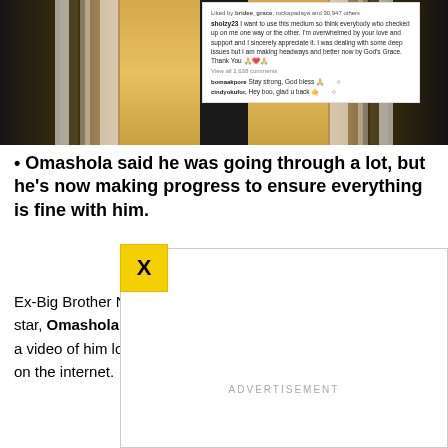[Figure (photo): Photo of a person wearing a black and gold/yellow striped jersey, with arms visible. An Instagram post overlay is visible in the top right showing a message from sholzy23 about being overwhelmed by love and support, dealing with deep issues but making headway and being better now by God's Grace, along with comments from bomaakpore and cindyokufor.]
Omashola said he was going through a lot, but he’s now making progress to ensure everything is fine with him.
Ex-Big Brother Naija season 4 Pepper Dem reality television star, Omashola Kola Oburoh, has broken silence hours after a video of him looking roughly unkempt on roadside went viral on the internet.
[Figure (other): Advertisement panel overlay (white box with ADVERTISEMENT label)]